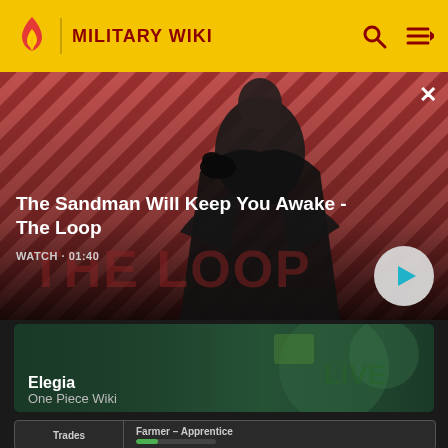MILITARY WIKI
[Figure (screenshot): Video thumbnail for 'The Sandman Will Keep You Awake - The Loop' showing a dark figure with a raven against a red diagonal striped background. Duration shown as WATCH • 01:40 with a play button.]
The Sandman Will Keep You Awake - The Loop
[Figure (screenshot): Card thumbnail for 'Elegia' from One Piece Wiki showing stylized colorful game art on a dark green background.]
Elegia
One Piece Wiki
[Figure (screenshot): Bottom card showing Trades and Farmer - Apprentice tabs with a green progress bar.]